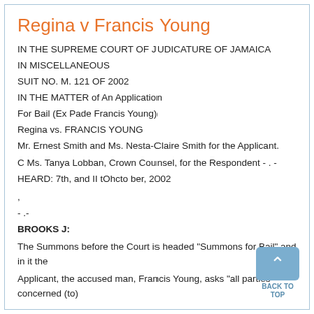Regina v Francis Young
IN THE SUPREME COURT OF JUDICATURE OF JAMAICA
IN MISCELLANEOUS
SUIT NO. M. 121 OF 2002
IN THE MATTER of An Application
For Bail (Ex Pade Francis Young)
Regina vs. FRANCIS YOUNG
Mr. Ernest Smith and Ms. Nesta-Claire Smith for the Applicant.
C Ms. Tanya Lobban, Crown Counsel, for the Respondent - . -
HEARD: 7th, and II tOhcto ber, 2002
,
- .-
BROOKS J:
The Summons before the Court is headed "Summons for Bail" and in it the
Applicant, the accused man, Francis Young, asks "all parties concerned (to)